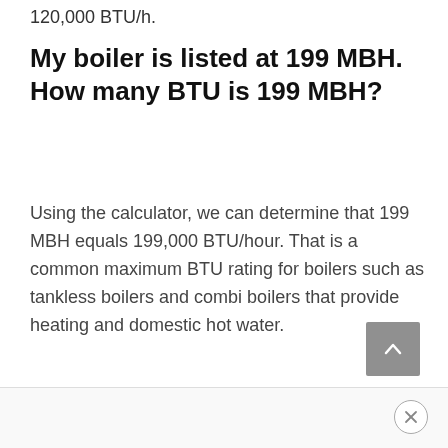120,000 BTU/h.
My boiler is listed at 199 MBH. How many BTU is 199 MBH?
Using the calculator, we can determine that 199 MBH equals 199,000 BTU/hour. That is a common maximum BTU rating for boilers such as tankless boilers and combi boilers that provide heating and domestic hot water.